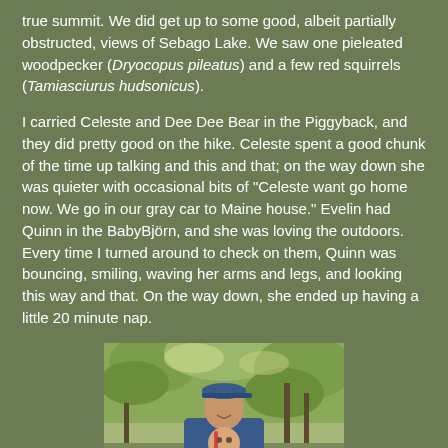true summit. We did get up to some good, albeit partially obstructed, views of Sebago Lake. We saw one pieleated woodpecker (Dryocopus pileatus) and a few red squirrels (Tamiasciurus hudsonicus).
I carried Celeste and Dee Dee Bear in the Piggyback, and they did pretty good on the hike. Celeste spent a good chunk of the time up talking and this and that; on the way down she was quieter with occasional bits of "Celeste want go home now. We go in our gray car to Maine house." Evelin had Quinn in the BabyBjörn, and she was loving the outdoors. Every time I turned around to check on them, Quinn was bouncing, smiling, waving her arms and legs, and looking this way and that. On the way down, she ended up having a little 20 minute nap.
[Figure (photo): A person wearing a blue cap and holding a baby outdoors in a forested setting, with trees and bright foliage in the background.]